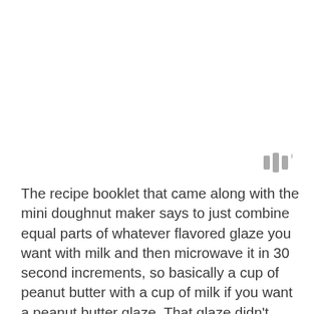[Figure (other): Small quotation mark or chat/audio icon in gray, with a small superscript symbol, positioned in the upper-right area of the page]
The recipe booklet that came along with the mini doughnut maker says to just combine equal parts of whatever flavored glaze you want with milk and then microwave it in 30 second increments, so basically a cup of peanut butter with a cup of milk if you want a peanut butter glaze. That glaze didn't taste very good at all though, so if you're going with a peanut butter glaze I'd use the powdered